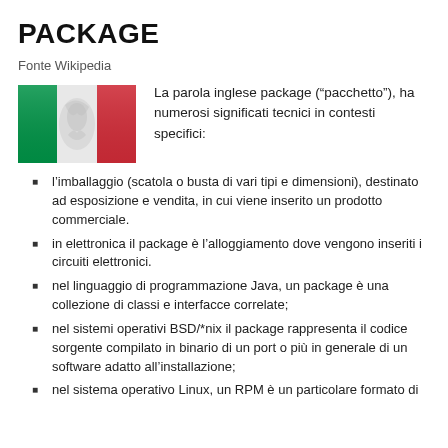PACKAGE
Fonte Wikipedia
[Figure (photo): Italian flag image]
La parola inglese package (“pacchetto”), ha numerosi significati tecnici in contesti specifici:
l’imballaggio (scatola o busta di vari tipi e dimensioni), destinato ad esposizione e vendita, in cui viene inserito un prodotto commerciale.
in elettronica il package è l’alloggiamento dove vengono inseriti i circuiti elettronici.
nel linguaggio di programmazione Java, un package è una collezione di classi e interfacce correlate;
nel sistemi operativi BSD/*nix il package rappresenta il codice sorgente compilato in binario di un port o più in generale di un software adatto all’installazione;
nel sistema operativo Linux, un RPM è un particolare formato di